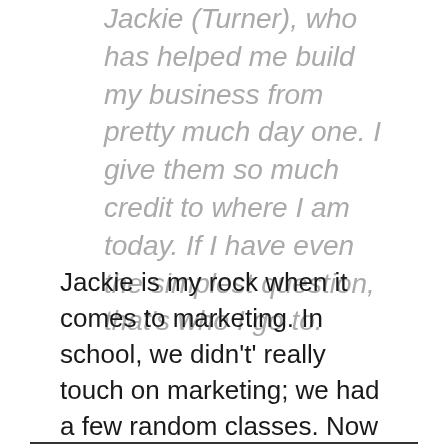Jackie (Turner), who has helped me build my business from pretty much day one. I give them so much credit to where I am today. If I have even the simplest question, that's who I go to.
Jackie is my rock when it comes to marketing. In school, we didn't' really touch on marketing; we had a few random classes. Now I'm learning how to present myself and present my business in a way people can relate. I've been more focused on what I wanted to accomplish in my business.